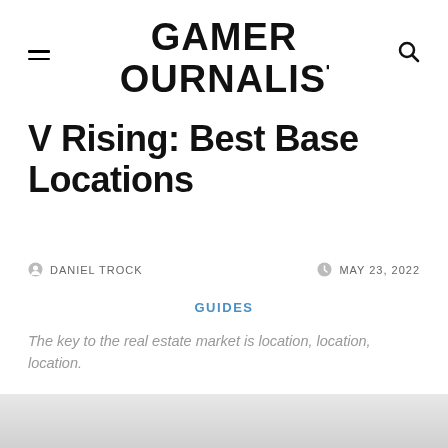GAMER JOURNALIST
V Rising: Best Base Locations
DANIEL TROCK   MAY 23, 2022
GUIDES
The key to the real estate market is location, location, location.
[Figure (photo): Article header image, partially visible at bottom of page]